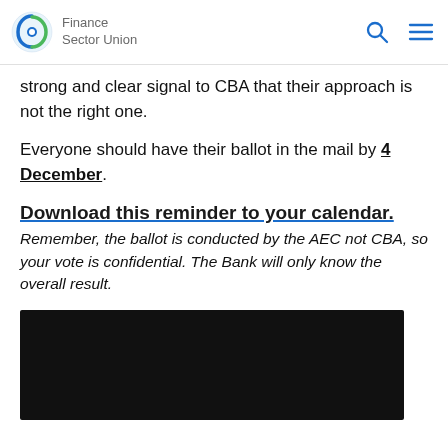Finance Sector Union
strong and clear signal to CBA that their approach is not the right one.
Everyone should have their ballot in the mail by 4 December.
Download this reminder to your calendar.
Remember, the ballot is conducted by the AEC not CBA, so your vote is confidential. The Bank will only know the overall result.
[Figure (photo): Black rectangular image area at the bottom of the page]